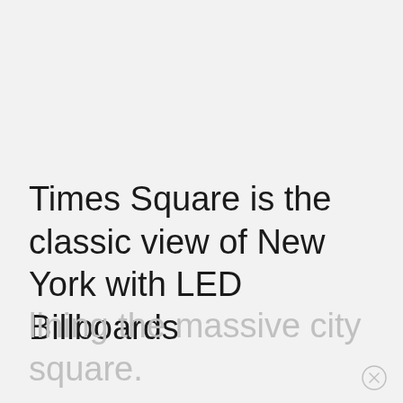[Figure (photo): Large empty light gray area occupying the upper two-thirds of the page, representing an image placeholder or a photo not rendered.]
Times Square is the classic view of New York with LED Billboards
lining the massive city square.